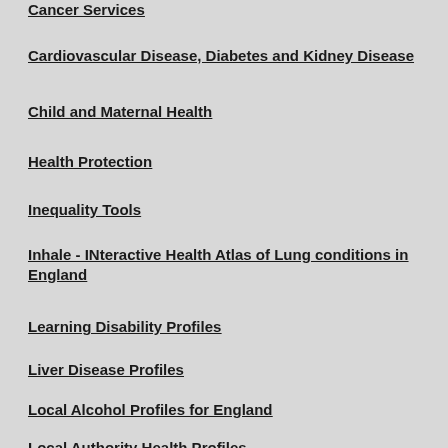Cancer Services
Cardiovascular Disease, Diabetes and Kidney Disease
Child and Maternal Health
Health Protection
Inequality Tools
Inhale - INteractive Health Atlas of Lung conditions in England
Learning Disability Profiles
Liver Disease Profiles
Local Alcohol Profiles for England
Local Authority Health Profiles